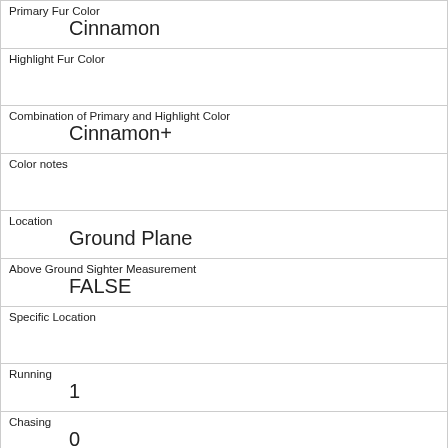| Primary Fur Color | Cinnamon |
| Highlight Fur Color |  |
| Combination of Primary and Highlight Color | Cinnamon+ |
| Color notes |  |
| Location | Ground Plane |
| Above Ground Sighter Measurement | FALSE |
| Specific Location |  |
| Running | 1 |
| Chasing | 0 |
| Climbing | 0 |
| Eating |  |